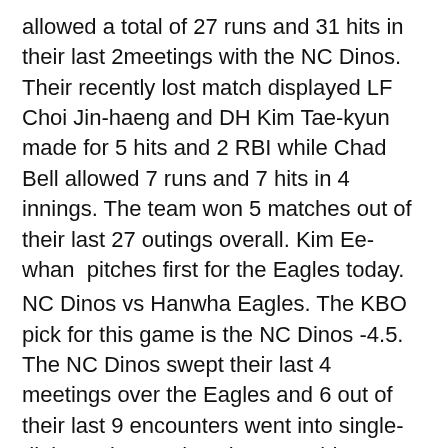allowed a total of 27 runs and 31 hits in their last 2meetings with the NC Dinos. Their recently lost match displayed LF Choi Jin-haeng and DH Kim Tae-kyun made for 5 hits and 2 RBI while Chad Bell allowed 7 runs and 7 hits in 4 innings. The team won 5 matches out of their last 27 outings overall. Kim Ee-whan  pitches first for the Eagles today.
NC Dinos vs Hanwha Eagles. The KBO pick for this game is the NC Dinos -4.5. The NC Dinos swept their last 4 meetings over the Eagles and 6 out of their last 9 encounters went into single-digit scoring totals. It is now evident which team you will opt to put your money on. The Eagles are flying in dark clouds and there seem to be no landing in sight. Hanwha lost 22 of their last 27 matches overall. Dinos win this match to a predicted score of 9-2. MLB Free Premium Picks Predictions. Today's entire Major League Baseball premium pick predictions are free right now at 1-888-711-4311 or text the word WINBIG to 760-670-3130 to receive them. Included are Best Bets